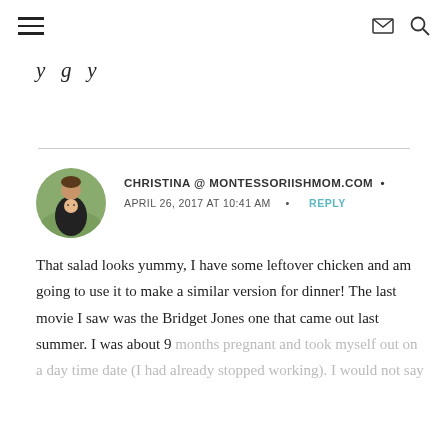≡  ✉ 🔍
y g y
CHRISTINA @ MONTESSORIISHMOM.COM
APRIL 26, 2017 AT 10:41 AM  •  REPLY
That salad looks yummy, I have some leftover chicken and am going to use it to make a similar version for dinner! The last movie I saw was the Bridget Jones one that came out last summer. I was about 9 months pregnant and took myself out on a day time date (I had already stopped working). I would not say